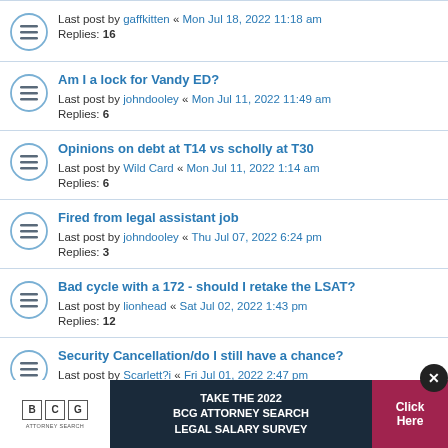Last post by gaffkitten « Mon Jul 18, 2022 11:18 am
Replies: 16
Am I a lock for Vandy ED?
Last post by johndooley « Mon Jul 11, 2022 11:49 am
Replies: 6
Opinions on debt at T14 vs scholly at T30
Last post by Wild Card « Mon Jul 11, 2022 1:14 am
Replies: 6
Fired from legal assistant job
Last post by johndooley « Thu Jul 07, 2022 6:24 pm
Replies: 3
Bad cycle with a 172 - should I retake the LSAT?
Last post by lionhead « Sat Jul 02, 2022 1:43 pm
Replies: 12
Security Cancellation/do I still have a chance?
Last post by Scarlett?i « Fri Jul 01, 2022 2:47 pm
Should I try to graduate early
[Figure (infographic): BCG Attorney Search ad banner: TAKE THE 2022 BCG ATTORNEY SEARCH LEGAL SALARY SURVEY with Click Here button and close X button]